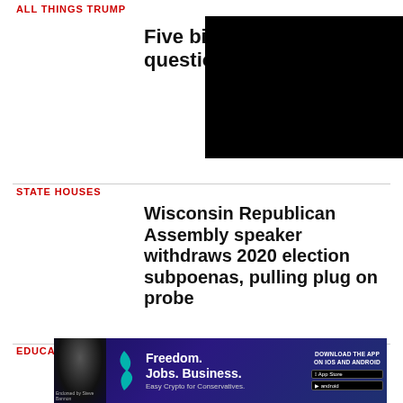ALL THINGS TRUMP
Five big u questions
[Figure (screenshot): Black video player overlay with white X close button in top-right corner]
STATE HOUSES
Wisconsin Republican Assembly speaker withdraws 2020 election subpoenas, pulling plug on probe
EDUCATION
[Figure (other): Advertisement banner: Freedom. Jobs. Business. Easy Crypto for Conservatives. Download the app on iOS and Android. Shows person on left, teal logo shape, and app store buttons. Endorsed by Steve Bannon.]